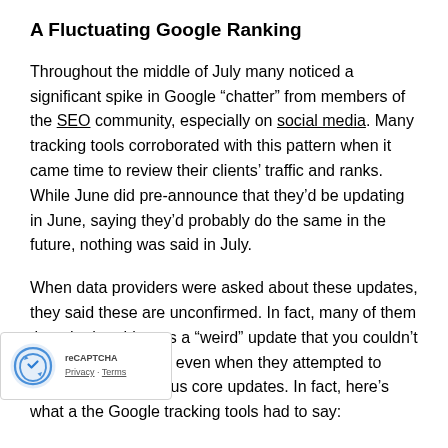A Fluctuating Google Ranking
Throughout the middle of July many noticed a significant spike in Google “chatter” from members of the SEO community, especially on social media. Many tracking tools corroborated with this pattern when it came time to review their clients’ traffic and ranks. While June did pre-announce that they’d be updating in June, saying they’d probably do the same in the future, nothing was said in July.
When data providers were asked about these updates, they said these are unconfirmed. In fact, many of them thought that this was a “weird” update that you couldn’t find any patterns for even when they attempted to compare it to previous core updates. In fact, here’s what a the Google tracking tools had to say:
RankRanger said they saw some interesting patterns